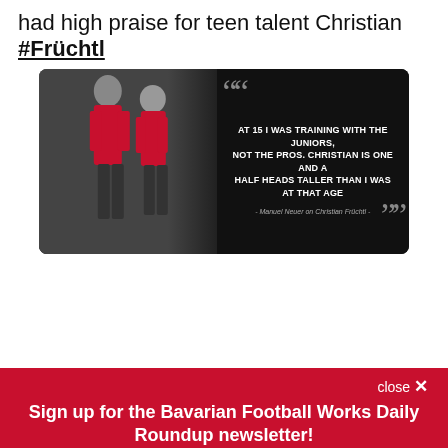had high praise for teen talent Christian #Früchtl
[Figure (photo): Quote card showing two Bayern Munich players in red training gear with a quote from Manuel Neuer: 'AT 15 I WAS TRAINING WITH THE JUNIORS, NOT THE PROS. CHRISTIAN IS ONE AND A HALF HEADS TALLER THAN I WAS AT THAT AGE' - Manuel Neuer on Christian Früchtl -]
close ✕
Sign up for the Bavarian Football Works Daily Roundup newsletter!
A daily roundup of Bayern Munich news from Bavarian Football Works
Email (required)
SUBSCRIBE
By submitting your email, you agree to our Terms and Privacy Notice. You can opt out at any time. This site is protected by reCAPTCHA and the Google Privacy Policy and Terms of Service apply.